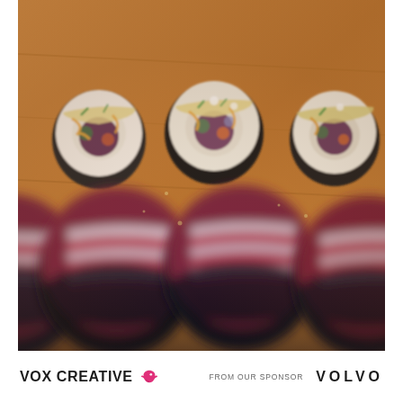[Figure (photo): Close-up photograph of sushi rolls on a wooden board. In the foreground, blurred sushi pieces topped with thin red/white striped fish slices. In the background, sharply focused sushi rolls topped with white rice, chopped ingredients, and drizzled sauce.]
VOX CREATIVE  FROM OUR SPONSOR  VOLVO